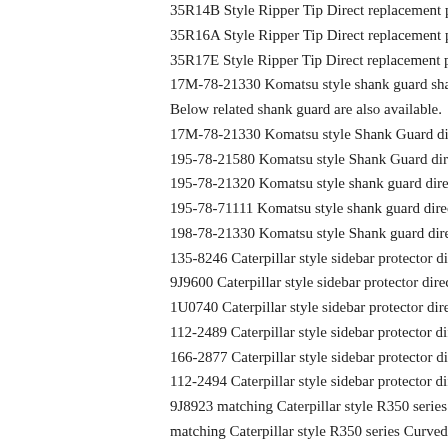35R14B Style Ripper Tip Direct replacement parts
35R16A Style Ripper Tip Direct replacement parts
35R17E Style Ripper Tip Direct replacement parts
17M-78-21330 Komatsu style shank guard shank protection direct
Below related shank guard are also available.
17M-78-21330 Komatsu style Shank Guard direct replacement par
195-78-21580 Komatsu style Shank Guard direct replacement part
195-78-21320 Komatsu style shank guard direct replacement parts
195-78-71111 Komatsu style shank guard direct replacement parts
198-78-21330 Komatsu style Shank guard direct replacement parts
135-8246 Caterpillar style sidebar protector direct replacement par
9J9600 Caterpillar style sidebar protector direct replacement parts
1U0740 Caterpillar style sidebar protector direct replacement parts
112-2489 Caterpillar style sidebar protector direct replacement par
166-2877 Caterpillar style sidebar protector direct replacement par
112-2494 Caterpillar style sidebar protector direct replacement par
9J8923 matching Caterpillar style R350 series Curved Shank direc
matching Caterpillar style R350 series Curved Shank direct replace
Below relative spare parts also available.